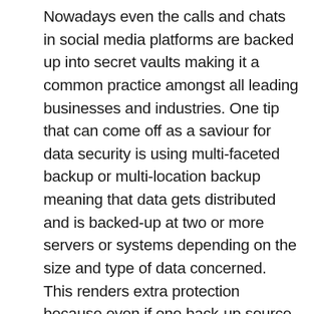Nowadays even the calls and chats in social media platforms are backed up into secret vaults making it a common practice amongst all leading businesses and industries. One tip that can come off as a saviour for data security is using multi-faceted backup or multi-location backup meaning that data gets distributed and is backed-up at two or more servers or systems depending on the size and type of data concerned. This renders extra protection because even if one back-up source fails in the worst-case situations, the data remains safe at the other sites. That said, most organisations now rely on cloud for backups of their data and it is also preferred that the data back-up occurs every week, at the least.